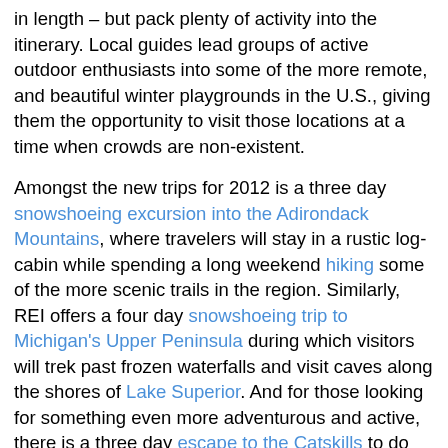in length – but pack plenty of activity into the itinerary. Local guides lead groups of active outdoor enthusiasts into some of the more remote, and beautiful winter playgrounds in the U.S., giving them the opportunity to visit those locations at a time when crowds are non-existent.
Amongst the new trips for 2012 is a three day snowshoeing excursion into the Adirondack Mountains, where travelers will stay in a rustic log-cabin while spending a long weekend hiking some of the more scenic trails in the region. Similarly, REI offers a four day snowshoeing trip to Michigan's Upper Peninsula during which visitors will trek past frozen waterfalls and visit caves along the shores of Lake Superior. And for those looking for something even more adventurous and active, there is a three day escape to the Catskills to do some ice climbing.
These short, but active trips are proof positive that we don't have to stay inside all winter waiting for the warm weather to arrive. REI Adventures will give us a reason to discover a...